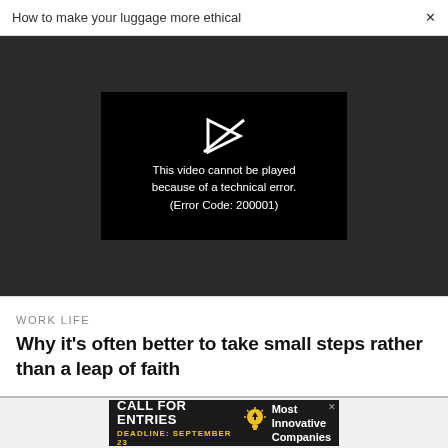How to make your luggage more ethical  ×
[Figure (screenshot): Dark gray video player background with a black video box in the center showing a broken/error play button icon and text: 'This video cannot be played because of a technical error. (Error Code: 200001)']
This video cannot be played because of a technical error. (Error Code: 200001)
WORK LIFE
Why it's often better to take small steps rather than a leap of faith
[Figure (infographic): Advertisement banner: black background with 'CALL FOR ENTRIES' in white bold text, 'DEADLINE: SEPTEMBER 23' in yellow text, a lightbulb icon, and 'Most Innovative Companies' in white text on the right.]